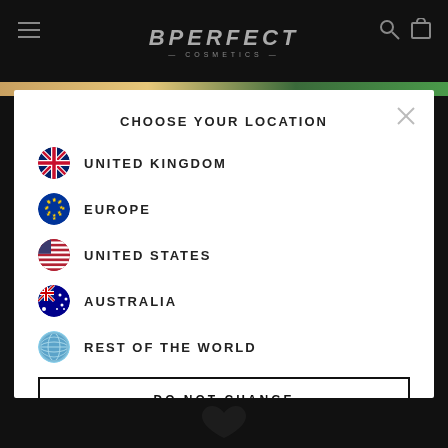BPERFECT COSMETICS
CHOOSE YOUR LOCATION
UNITED KINGDOM
EUROPE
UNITED STATES
AUSTRALIA
REST OF THE WORLD
DO NOT CHANGE